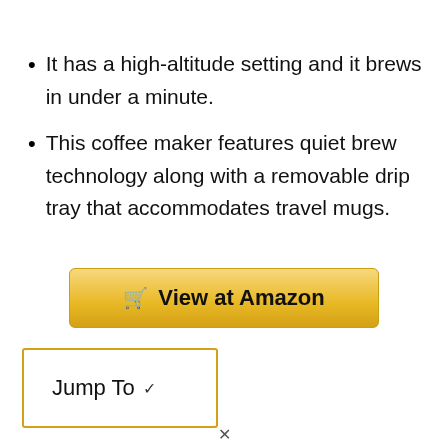It has a high-altitude setting and it brews in under a minute.
This coffee maker features quiet brew technology along with a removable drip tray that accommodates travel mugs.
[Figure (other): Yellow 'View at Amazon' button with shopping cart icon]
[Figure (other): Yellow-bordered 'Jump To' dropdown box]